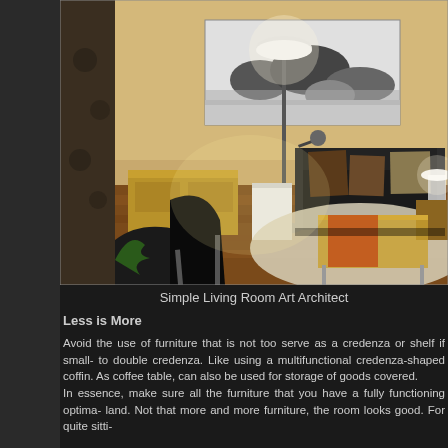[Figure (photo): Interior photo of a simple living room showing a black sofa with cushions, a coffee table, floor lamp, wooden dresser, cream shag rug on wooden floor, and a black-and-white landscape painting on the wall.]
Simple Living Room Art Architect
Less is More
Avoid the use of furniture that is not too serve as a credenza or shelf if small- to double credenza. Like using a multifunctional credenza-shaped coffin. As coffee table, can also be used for storage of goods covered.
In essence, make sure all the furniture that you have a fully functioning optima- land. Not that more and more furniture, the room looks good. For quite sitti-